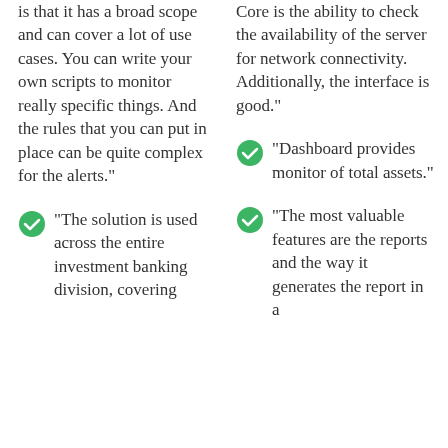is that it has a broad scope and can cover a lot of use cases. You can write your own scripts to monitor really specific things. And the rules that you can put in place can be quite complex for the alerts."
"The solution is used across the entire investment banking division, covering
Core is the ability to check the availability of the server for network connectivity. Additionally, the interface is good."
"Dashboard provides monitor of total assets."
"The most valuable features are the reports and the way it generates the report in a